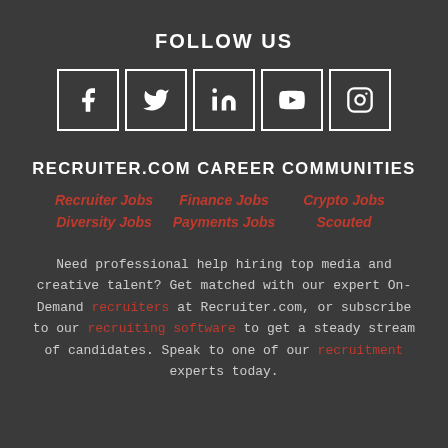FOLLOW US
[Figure (infographic): Five social media icons (Facebook, Twitter, LinkedIn, YouTube, Instagram) each in a white-bordered square box]
RECRUITER.COM CAREER COMMUNITIES
Recruiter Jobs
Finance Jobs
Crypto Jobs
Diversity Jobs
Payments Jobs
Scouted
Need professional help hiring top media and creative talent? Get matched with our expert On-Demand recruiters at Recruiter.com, or subscribe to our recruiting software to get a steady stream of candidates. Speak to one of our recruitment experts today.